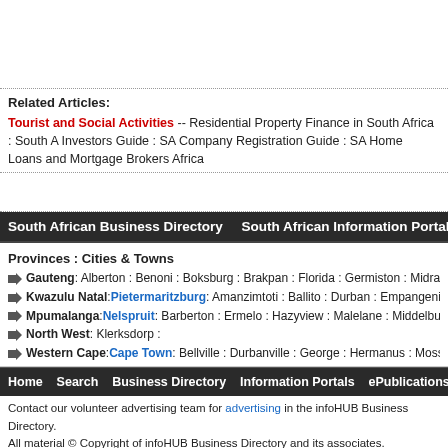Related Articles:
Tourist and Social Activities -- Residential Property Finance in South Africa : South A Investors Guide : SA Company Registration Guide : SA Home Loans and Mortgage Brokers Africa
South African Business Directory   South African Information Portal   South African B
Provinces : Cities & Towns
Gauteng : Alberton : Benoni : Boksburg : Brakpan : Florida : Germiston : Midrand : Preto
Kwazulu Natal : Pietermaritzburg : Amanzimtoti : Ballito : Durban : Empangeni : Lady
Mpumalanga : Nelspruit : Barberton : Ermelo : Hazyview : Malelane : Middelburg : Sab
North West : Klerksdorp :
Western Cape : Cape Town : Bellville : Durbanville : George : Hermanus : Mossel Bay
Home   Search   Business Directory   Information Portals   ePublications   Travel   Ev
Contact our volunteer advertising team for advertising in the infoHUB Business Directory. All material © Copyright of infoHUB Business Directory and its associates. This service is provided per infoHUB Business Directory standard Terms and Conditions. infoHUB Bu use of or reliance upon, in any manner, the information provided through this service and does not wa This website is published & maintained by infoHUB Business Directory volunteers.